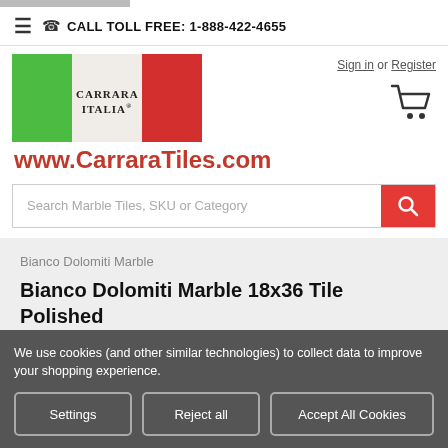CALL TOLL FREE: 1-888-422-4655
[Figure (logo): Carrara Italia logo with Italian flag colors (green, white, red)]
Sign in or Register
www.CarraraTiles.com
Search Marble Tiles, SKU or Category
Bianco Dolomiti Marble
Bianco Dolomiti Marble 18x36 Tile Polished
(No reviews yet)
We use cookies (and other similar technologies) to collect data to improve your shopping experience.
Settings  Reject all  Accept All Cookies